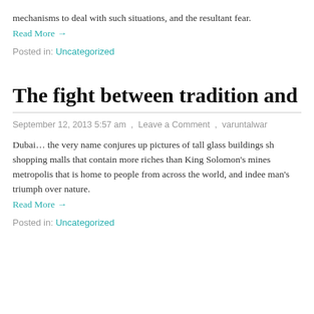mechanisms to deal with such situations, and the resultant fear.
Read More →
Posted in: Uncategorized
The fight between tradition and m
September 12, 2013 5:57 am  ,  Leave a Comment  ,  varuntalwar
Dubai… the very name conjures up pictures of tall glass buildings sh shopping malls that contain more riches than King Solomon's mines metropolis that is home to people from across the world, and indee man's triumph over nature.
Read More →
Posted in: Uncategorized